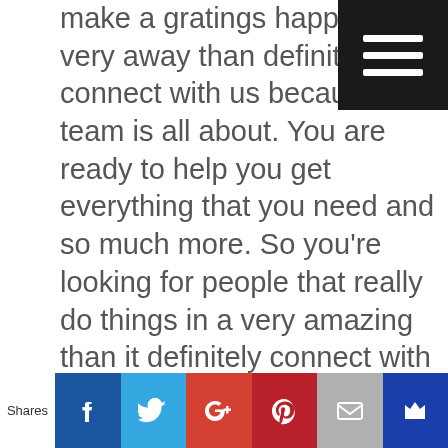make a gratings happen in a very away than definitely connect with us because our team is all about. You are ready to help you get everything that you need and so much more. So you're looking for people that really do things in a very amazing than it definitely connect with us or what you are to definitely trust nothing honest with him to getting research and the result really is getting ready to get up we want to help you succeed. Server looking for people to really do want to help you succeed then it definitely connect with our great insight because our job is all about doing things in a very very way.
[Figure (other): Dark hamburger menu button in top-right corner with three white horizontal lines]
Shares | Facebook | Twitter | Google+ | Pinterest | Email | Bookmark